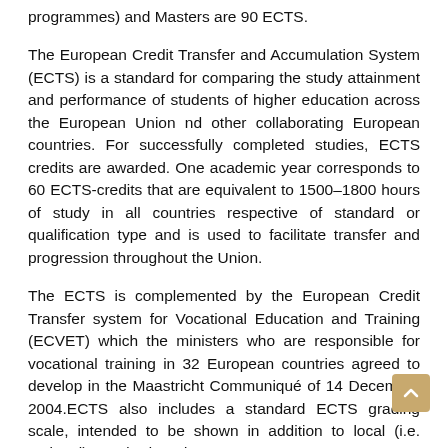programmes) and Masters are 90 ECTS.
The European Credit Transfer and Accumulation System (ECTS) is a standard for comparing the study attainment and performance of students of higher education across the European Union nd other collaborating European countries. For successfully completed studies, ECTS credits are awarded. One academic year corresponds to 60 ECTS-credits that are equivalent to 1500–1800 hours of study in all countries respective of standard or qualification type and is used to facilitate transfer and progression throughout the Union.
The ECTS is complemented by the European Credit Transfer system for Vocational Education and Training (ECVET) which the ministers who are responsible for vocational training in 32 European countries agreed to develop in the Maastricht Communiqué of 14 December 2004.ECTS also includes a standard ECTS grading scale, intended to be shown in addition to local (i.e. national) standard grades.
In Cyprus the standard formula used for each credit point per year is 30 Hours per credit point.